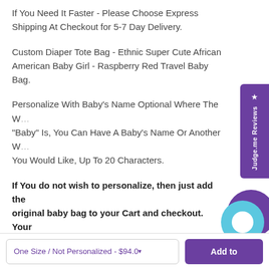If You Need It Faster - Please Choose Express Shipping At Checkout for 5-7 Day Delivery.
Custom Diaper Tote Bag - Ethnic Super Cute African American Baby Girl - Raspberry Red Travel Baby Bag.
Personalize With Baby's Name Optional Where The Word "Baby" Is, You Can Have A Baby's Name Or Another Word You Would Like, Up To 20 Characters.
If You do not wish to personalize, then just add the original baby bag to your Cart and checkout. Your baby bag will come with the word "Baby" on it as in photos.
One Size / Not Personalized - $94.00
Add to